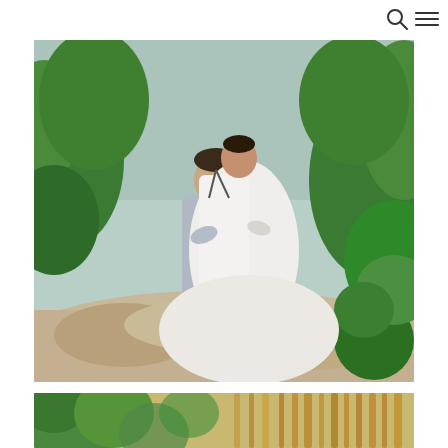Navigation bar with search and menu icons
[Figure (photo): A bride and groom embracing on a rocky ledge near a lagoon surrounded by lush tropical greenery. The groom wears a light grey suit and the bride wears a flowing white gown.]
[Figure (photo): Partial view of a second wedding photo showing tropical foliage and warm tones, cropped at the bottom of the page.]